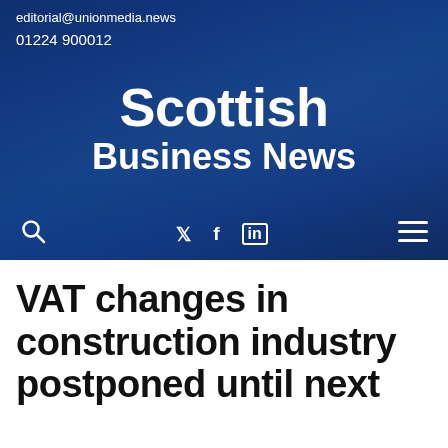editorial@unionmedia.news
01224 900012
Scottish Business News
🔍  𝕏  f  in  ≡
VAT changes in construction industry postponed until next